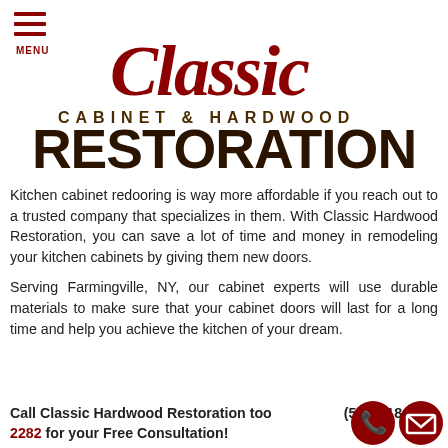[Figure (logo): Classic Cabinet & Hardwood Restoration logo with red cursive 'Classic' text, dark brown 'CABINET & HARDWOOD' and large bold 'RESTORATION' text, with hamburger menu icon and MENU label top-left]
Kitchen cabinet redooring is way more affordable if you reach out to a trusted company that specializes in them. With Classic Hardwood Restoration, you can save a lot of time and money in remodeling your kitchen cabinets by giving them new doors.
Serving Farmingville, NY, our cabinet experts will use durable materials to make sure that your cabinet doors will last for a long time and help you achieve the kitchen of your dream.
Call Classic Hardwood Restoration too… (5…18-2282 for your Free Consultation!